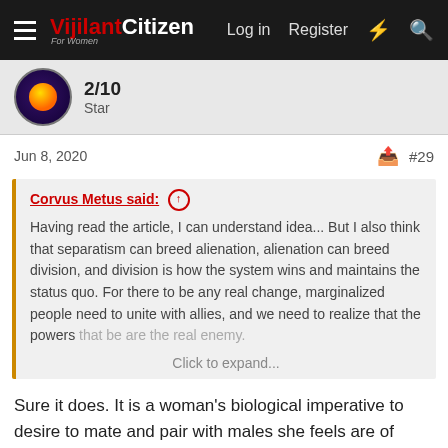Vijilant Citizen — Log in  Register
[Figure (screenshot): User avatar: dark purple background with orange flame/sphere in center]
Star
Jun 8, 2020  #29
Corvus Metus said: ↑  Having read the article, I can understand idea... But I also think that separatism can breed alienation, alienation can breed division, and division is how the system wins and maintains the status quo. For there to be any real change, marginalized people need to unite with allies, and we need to realize that the powers that be are the real enemy.  Click to expand...
Sure it does. It is a woman's biological imperative to desire to mate and pair with males she feels are of superior status than hers. Studies show that women at large have